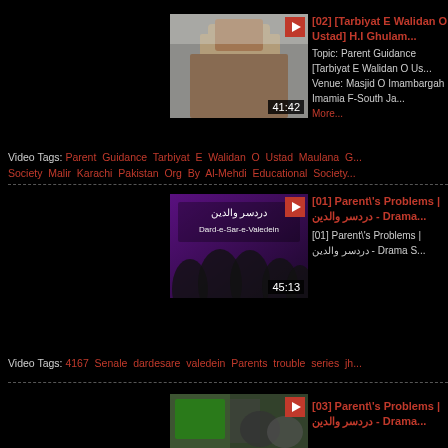[Figure (screenshot): Video thumbnail showing a man in religious attire speaking, with duration 41:42]
[02] [Tarbiyat E Walidan O Ustad] H.I Ghulam...
Topic: Parent Guidance [Tarbiyat E Walidan O Us...
Venue: Masjid O Imambargah Imamia F-South Ja...
More...
Video Tags: Parent Guidance Tarbiyat E Walidan O Ustad Maulana G... Society Malir Karachi Pakistan Org By Al-Mehdi Educational Society...
[Figure (screenshot): Video thumbnail for drama series Dard-e-Sar-e-Waledein with Arabic text overlay, duration 45:13]
[01] Parent\'s Problems | دردسر والدین - Drama...
[01] Parent\'s Problems | دردسر والدین - Drama S...
Video Tags: 4167 Senale dardesare valedein Parents trouble series jh...
[Figure (screenshot): Video thumbnail for [03] Parent's Problems drama series, partially visible]
[03] Parent\'s Problems | دردسر والدین - Drama...